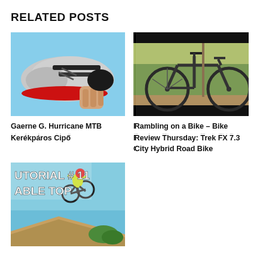RELATED POSTS
[Figure (photo): A hand holding a silver/grey MTB cycling shoe with red sole against a blue sky background.]
Gaerne G. Hurricane MTB Kerékpáros Cipő
[Figure (photo): A dark mountain bike leaning against a post in an outdoor grassy/dirt area, with black borders top and bottom (video thumbnail).]
Rambling on a Bike – Bike Review Thursday: Trek FX 7.3 City Hybrid Road Bike
[Figure (photo): A BMX rider performing a table top trick in mid-air against a blue sky. Text overlay reads 'UTORIAL # 11' and 'ABLE TOP'.]